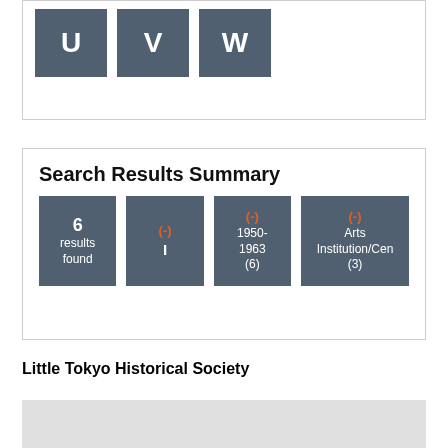[Figure (screenshot): Partial top box showing three dark blue-grey tiles with letters partially visible: U, V, W]
Search Results Summary
[Figure (infographic): Four dark blue-grey filter/result tiles: '6 results found', '(-) I', '(-) 1950-1963 (6)', '(-) Arts Institution/Center (3)']
Little Tokyo Historical Society
[Figure (photo): Light grey image placeholder at bottom of page]